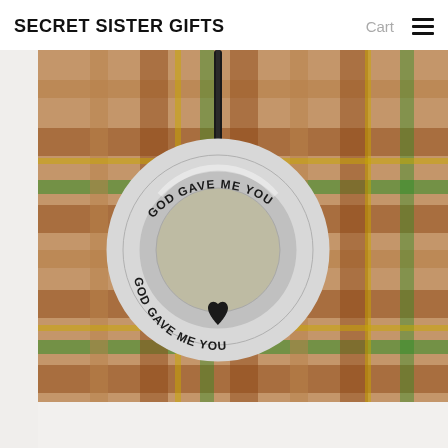SECRET SISTER GIFTS
[Figure (photo): A silver ring-shaped pendant necklace with the text 'GOD GAVE ME YOU' engraved around the ring, with a small heart symbol. The pendant hangs from a black cord and is displayed on a plaid/tartan fabric background inside a white gift box.]